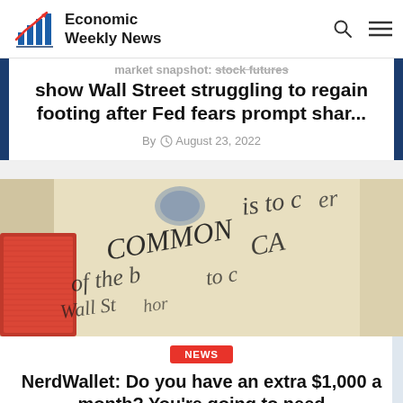Economic Weekly News
market snapshot: stock futures show Wall Street struggling to regain footing after Fed fears prompt shar...
By  © August 23, 2022
[Figure (photo): Close-up image of handwritten cursive text on a document, with a red card partially visible on the left side, showing words like 'COMMON CAP' in decorative script.]
NEWS
NerdWallet: Do you have an extra $1,000 a month? You're going to need